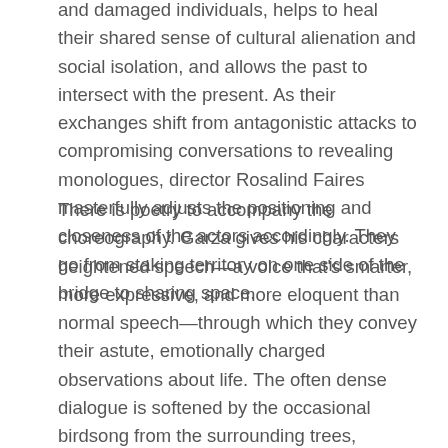and damaged individuals, helps to heal their shared sense of cultural alienation and social isolation, and allows the past to intersect with the present. As their exchanges shift from antagonistic attacks to compromising conversations to revealing monologues, director Rosalind Faires masterfully adjusts the positioning and closeness of the actors accordingly. They go from staking territory on one side of the bridge to sharing space.
There is poetry to accompany the choreography. Garza gives his characters heightened speech—a voice that's smarter, more expressive, and more eloquent than normal speech—through which they convey their astute, emotionally charged observations about life. The often dense dialogue is softened by the occasional birdsong from the surrounding trees, courtesy of sound designer Robert S. Fisher. The intense Trejo and the absolutely fascinating Butler have mastered this way of speaking, but they have also created interesting and accessible personas for their characters that make this speech sound normative. They are also past masters in the art of listening to each other. On opening night, there wasn't a moment of